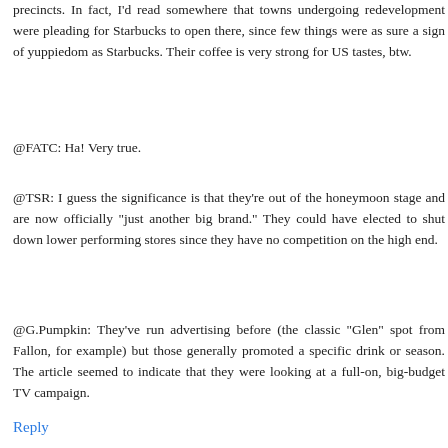precincts. In fact, I'd read somewhere that towns undergoing redevelopment were pleading for Starbucks to open there, since few things were as sure a sign of yuppiedom as Starbucks. Their coffee is very strong for US tastes, btw.
@FATC: Ha! Very true.
@TSR: I guess the significance is that they're out of the honeymoon stage and are now officially "just another big brand." They could have elected to shut down lower performing stores since they have no competition on the high end.
@G.Pumpkin: They've run advertising before (the classic "Glen" spot from Fallon, for example) but those generally promoted a specific drink or season. The article seemed to indicate that they were looking at a full-on, big-budget TV campaign.
Reply